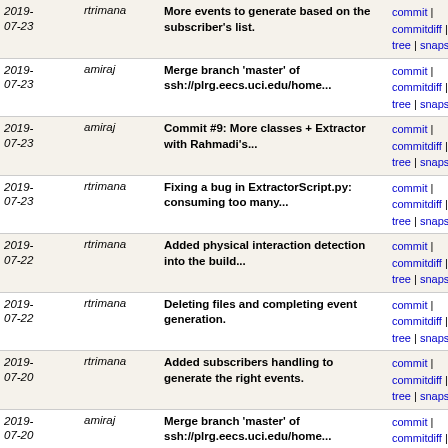| Date | Author | Message | Links |
| --- | --- | --- | --- |
| 2019-07-23 | rtrimana | More events to generate based on the subscriber's list. | commit | commitdiff | tree | snapshot |
| 2019-07-23 | amiraj | Merge branch 'master' of ssh://plrg.eecs.uci.edu/home... | commit | commitdiff | tree | snapshot |
| 2019-07-23 | amiraj | Commit #9: More classes + Extractor with Rahmadi's... | commit | commitdiff | tree | snapshot |
| 2019-07-23 | rtrimana | Fixing a bug in ExtractorScript.py: consuming too many... | commit | commitdiff | tree | snapshot |
| 2019-07-22 | rtrimana | Added physical interaction detection into the build... | commit | commitdiff | tree | snapshot |
| 2019-07-22 | rtrimana | Deleting files and completing event generation. | commit | commitdiff | tree | snapshot |
| 2019-07-20 | rtrimana | Added subscribers handling to generate the right events. | commit | commitdiff | tree | snapshot |
| 2019-07-20 | amiraj | Merge branch 'master' of ssh://plrg.eecs.uci.edu/home... | commit | commitdiff | tree | snapshot |
| 2019-07-20 | amiraj | Commit #9: extension to the infrastructure with more... | commit | commitdiff | tree | snapshot |
| 2019-07-17 | rtrimana | Adding jpf.jar to enable the compilation of apps with... | commit | commitdiff | tree | snapshot |
| 2019-07-17 | amiraj | Commit #9: update to previous commit | commit | commitdiff | tree | snapshot |
| 2019-07-17 | amiraj | Commit #8: New version of extractor with running the... | commit | commitdiff | tree | snapshot |
| 2019-07-12 | amiraj | Merge branch 'master' of ssh://plrg.eecs.uci.edu/home... | commit | commitdiff | tree | snapshot |